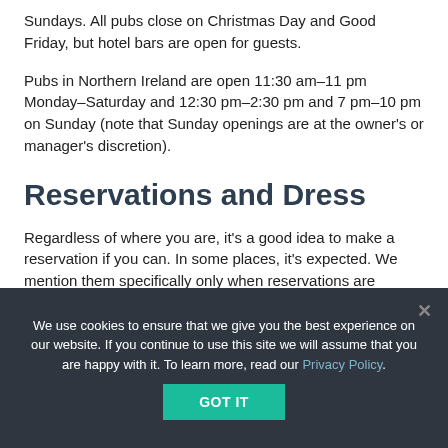Sundays. All pubs close on Christmas Day and Good Friday, but hotel bars are open for guests.
Pubs in Northern Ireland are open 11:30 am–11 pm Monday–Saturday and 12:30 pm–2:30 pm and 7 pm–10 pm on Sunday (note that Sunday openings are at the owner's or manager's discretion).
Reservations and Dress
Regardless of where you are, it's a good idea to make a reservation if you can. In some places, it's expected. We mention them specifically only when reservations are essential (there's no other way to get a table) or when they are not accepted. For popular restaurants, book as far ahead as you can (often 30 days), and reconfirm as soon as you arrive. (Large parties should always call ahead to check the
We use cookies to ensure that we give you the best experience on our website. If you continue to use this site we will assume that you are happy with it. To learn more, read our Privacy Policy.
GOT IT